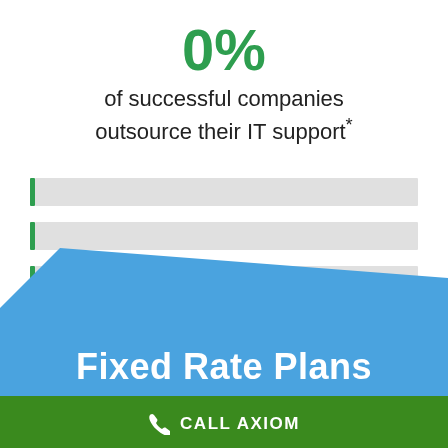0%
of successful companies outsource their IT support*
[Figure (infographic): Three horizontal gray bars with green left-border accents, representing list items with no visible text]
[Figure (infographic): Blue diagonal swoosh background with green footer strip]
Fixed Rate Plans
CALL AXIOM